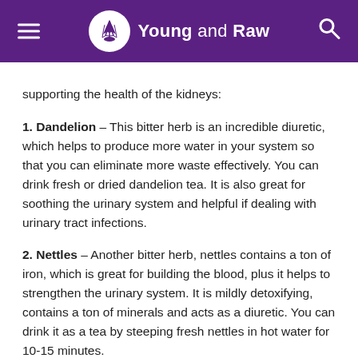Young and Raw
supporting the health of the kidneys:
1. Dandelion – This bitter herb is an incredible diuretic, which helps to produce more water in your system so that you can eliminate more waste effectively. You can drink fresh or dried dandelion tea. It is also great for soothing the urinary system and helpful if dealing with urinary tract infections.
2. Nettles – Another bitter herb, nettles contains a ton of iron, which is great for building the blood, plus it helps to strengthen the urinary system. It is mildly detoxifying, contains a ton of minerals and acts as a diuretic. You can drink it as a tea by steeping fresh nettles in hot water for 10-15 minutes.